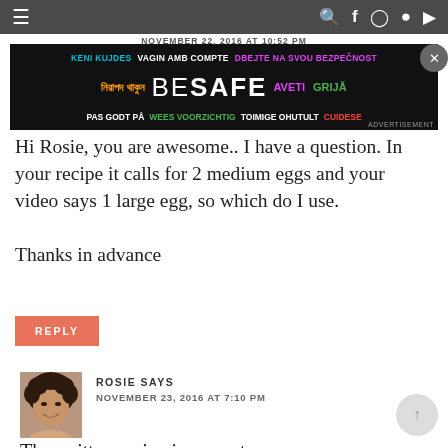NOVEMBER 22, 2016 AT 10:52 PM
[Figure (infographic): BE SAFE multilingual advertisement banner with text in multiple languages and colors on black background]
Hi Rosie, you are awesome.. I have a question. In your recipe it calls for 2 medium eggs and your video says 1 large egg, so which do I use.

Thanks in advance
REPLY
[Figure (photo): Profile photo of Rosie, a woman with curly dark hair]
ROSIE SAYS
NOVEMBER 23, 2016 AT 7:10 PM
The written recipe is correct.